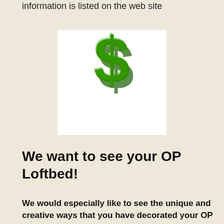information is listed on the web site
[Figure (illustration): 3D green dollar sign symbol on a white background]
We want to see your OP Loftbed!
We would especially like to see the unique and creative ways that you have decorated your OP